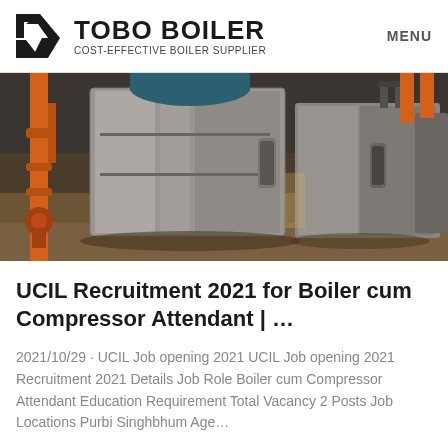TOBO BOILER — COST-EFFECTIVE BOILER SUPPLIER | MENU
[Figure (photo): Industrial boilers in a facility — large stainless steel boiler units with orange pipes visible on the left side, photographed in a warehouse-style setting.]
UCIL Recruitment 2021 for Boiler cum Compressor Attendant | ...
2021/10/29 · UCIL Job opening 2021 UCIL Job opening 2021 Recruitment 2021 Details Job Role Boiler cum Compressor Attendant Education Requirement Total Vacancy 2 Posts Job Locations Purbi Singhbhum Age…